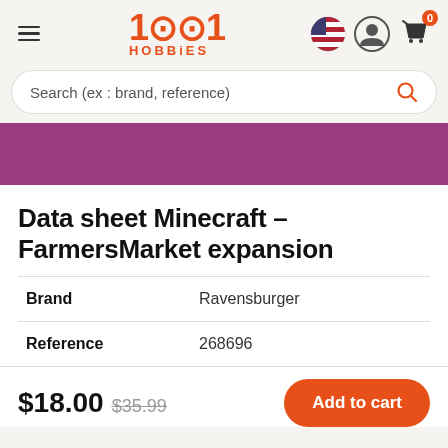[Figure (logo): 1001 Hobbies logo in orange/red with hamburger menu icon and header icons (US flag, user, cart with 0 badge)]
Search (ex : brand, reference)
[Figure (other): Purple banner strip]
Data sheet Minecraft – FarmersMarket expansion
| Brand | Ravensburger |
| Reference | 268696 |
$18.00  $35.99  Add to cart